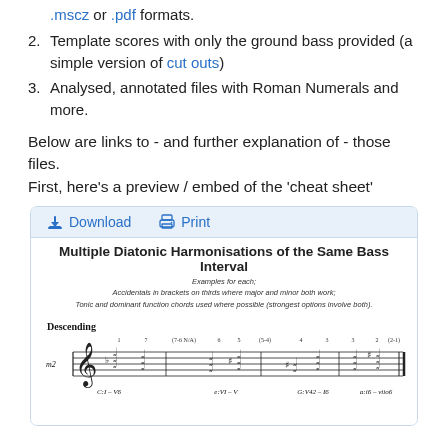.mscz or .pdf formats.
Template scores with only the ground bass provided (a simple version of cut outs)
Analysed, annotated files with Roman Numerals and more.
Below are links to - and further explanation of - those files. First, here's a preview / embed of the 'cheat sheet'
[Figure (screenshot): Embedded music score viewer showing 'Multiple Diatonic Harmonisations of the Same Bass Interval' with Download and Print toolbar buttons, subtitle text about examples and accidentals, a 'Descending' section label, and a music staff (m2) with chord notations including C:I - V6, e:VI - V, G:V42 - I6, a:i6 - viio6]